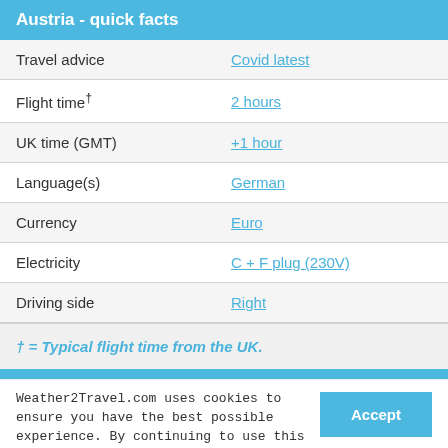Austria - quick facts
|  |  |
| --- | --- |
| Travel advice | Covid latest |
| Flight time† | 2 hours |
| UK time (GMT) | +1 hour |
| Language(s) | German |
| Currency | Euro |
| Electricity | C + F plug (230V) |
| Driving side | Right |
† = Typical flight time from the UK.
Weather2Travel.com uses cookies to ensure you have the best possible experience. By continuing to use this website, you agree to the use of cookies. Read our Privacy & Cookies Policy for more info.